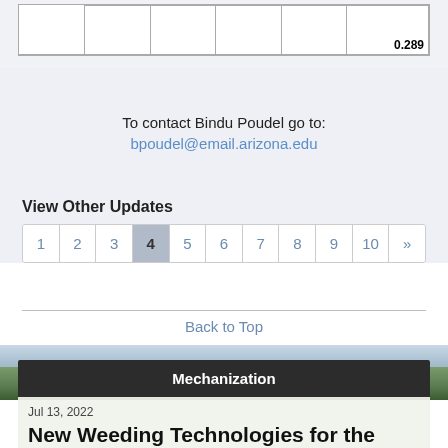|  |  |  |  |  | 0.289 |
To contact Bindu Poudel go to:
bpoudel@email.arizona.edu
View Other Updates
1 2 3 4 5 6 7 8 9 10 »
Back to Top
[Figure (photo): Agricultural field with rows of crops, aerial/landscape view with green fields]
Mechanization
Jul 13, 2022
New Weeding Technologies for the 2022 Growing Season – Article II
A continuation in an ongoing article about the US...